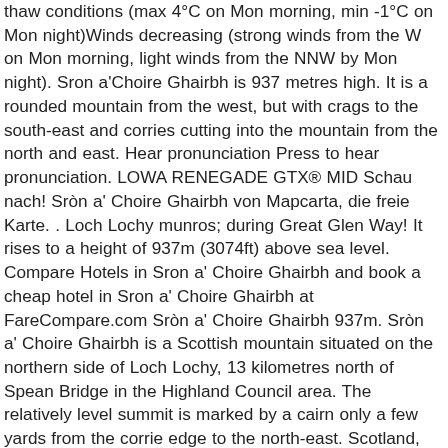thaw conditions (max 4°C on Mon morning, min -1°C on Mon night)Winds decreasing (strong winds from the W on Mon morning, light winds from the NNW by Mon night). Sron a'Choire Ghairbh is 937 metres high. It is a rounded mountain from the west, but with crags to the south-east and corries cutting into the mountain from the north and east. Hear pronunciation Press to hear pronunciation. LOWA RENEGADE GTX® MID Schau nach! Sròn a' Choire Ghairbh von Mapcarta, die freie Karte. . Loch Lochy munros; during Great Glen Way! It rises to a height of 937m (3074ft) above sea level. Compare Hotels in Sron a' Choire Ghairbh and book a cheap hotel in Sron a' Choire Ghairbh at FareCompare.com Sròn a' Choire Ghairbh 937m. Sròn a' Choire Ghairbh is a Scottish mountain situated on the northern side of Loch Lochy, 13 kilometres north of Spean Bridge in the Highland Council area. The relatively level summit is marked by a cairn only a few yards from the corrie edge to the north-east. Scotland, The Munros,